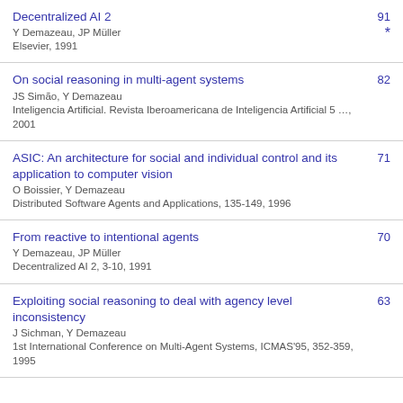Decentralized AI 2 | Y Demazeau, JP Müller | Elsevier, 1991 | 91 *
On social reasoning in multi-agent systems | JS Simão, Y Demazeau | Inteligencia Artificial. Revista Iberoamericana de Inteligencia Artificial 5 …, 2001 | 82
ASIC: An architecture for social and individual control and its application to computer vision | O Boissier, Y Demazeau | Distributed Software Agents and Applications, 135-149, 1996 | 71
From reactive to intentional agents | Y Demazeau, JP Müller | Decentralized AI 2, 3-10, 1991 | 70
Exploiting social reasoning to deal with agency level inconsistency | J Sichman, Y Demazeau | 1st International Conference on Multi-Agent Systems, ICMAS'95, 352-359, 1995 | 63